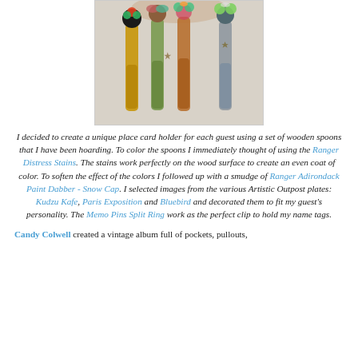[Figure (photo): Four decorated wooden spoons standing upright, each with colorful flowers and embellishments on top. The spoons are stained in different colors: yellow/amber, green, orange/brown, and grey/silver.]
I decided to create a unique place card holder for each guest using a set of wooden spoons that I have been hoarding. To color the spoons I immediately thought of using the Ranger Distress Stains. The stains work perfectly on the wood surface to create an even coat of color. To soften the effect of the colors I followed up with a smudge of Ranger Adirondack Paint Dabber - Snow Cap. I selected images from the various Artistic Outpost plates: Kudzu Kafe, Paris Exposition and Bluebird and decorated them to fit my guest's personality. The Memo Pins Split Ring work as the perfect clip to hold my name tags.
Candy Colwell created a vintage album full of pockets, pullouts,